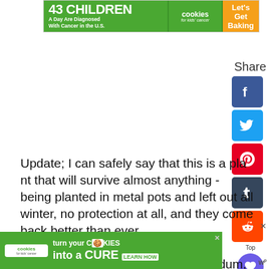[Figure (screenshot): Top banner advertisement for Cookies for Kids Cancer: '43 CHILDREN A Day Are Diagnosed With Cancer in the U.S.' with cookies logo and 'Let's Get Baking' on orange background]
[Figure (screenshot): Share sidebar with Facebook, Twitter, Pinterest, Tumblr, Reddit social share buttons and a heart/like button showing count of 1]
Update; I can safely say that this is a plant that will survive almost anything - being planted in metal pots and left out all winter, no protection at all, and they come back better than ever.

If you're looking for a sweet little Sedum, this is it...
[Figure (screenshot): Bottom banner advertisement for Cookies for Kids Cancer: 'turn your COOKIES into a CURE LEARN HOW']